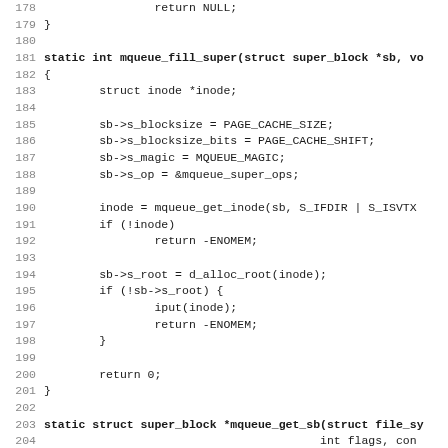Source code listing, lines 178–210, C kernel code for mqueue filesystem operations
[Figure (screenshot): C source code showing mqueue_fill_super and mqueue_get_sb and init_once function definitions with line numbers 178-210]